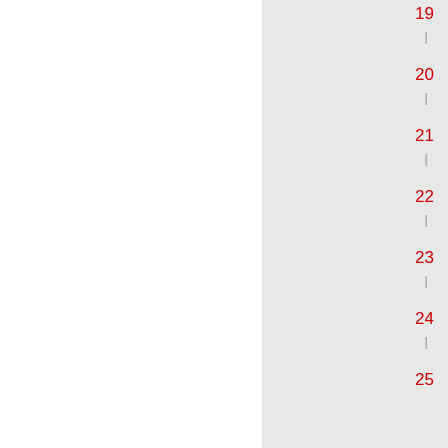19
20
21
22
23
24
25
zuletzt aktualisiert:  16.12.
Seite drucken  L... Frie...
Kontakt  Impressum  Sitem... English  Index... Z  Mobil  Datens...